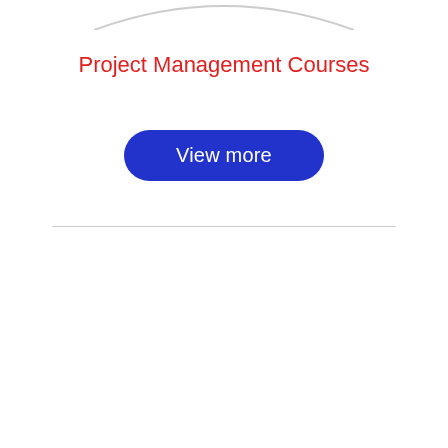[Figure (illustration): Bottom portion of a circular graphic or icon with a light gray arc visible at the top of the page]
Project Management Courses
View more